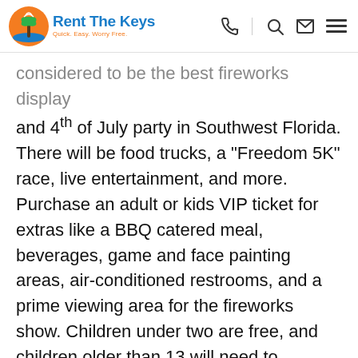Rent The Keys
considered to be the best fireworks display and 4th of July party in Southwest Florida. There will be food trucks, a “Freedom 5K” race, live entertainment, and more. Purchase an adult or kids VIP ticket for extras like a BBQ catered meal, beverages, game and face painting areas, air-conditioned restrooms, and a prime viewing area for the fireworks show. Children under two are free, and children older than 13 will need to purchase an adult ticket to the VIP area. The Red, White, and Boom fireworks take place on Cape Coral Parkway at the foot of Cape Coral Bridge. The light show begins at 9:30 p.m. Please no pets, personal fireworks, or outside alcohol